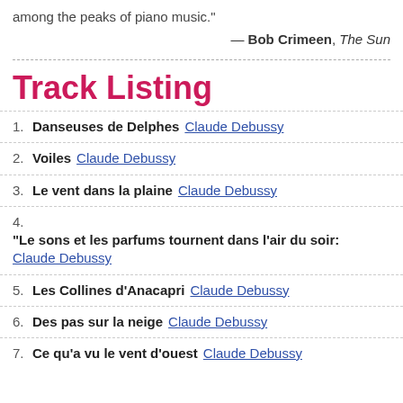among the peaks of piano music."
— Bob Crimeen, The Sun
Track Listing
1. Danseuses de Delphes   Claude Debussy
2. Voiles   Claude Debussy
3. Le vent dans la plaine   Claude Debussy
4. "Le sons et les parfums tournent dans l'air du soir:   Claude Debussy
5. Les Collines d'Anacapri   Claude Debussy
6. Des pas sur la neige   Claude Debussy
7. Ce qu'a vu le vent d'ouest   Claude Debussy